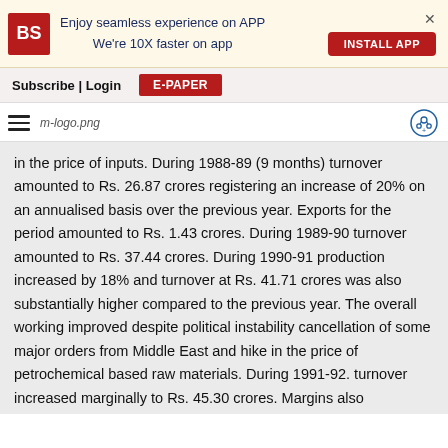[Figure (logo): Business Standard app install banner with BS logo, text 'Enjoy seamless experience on APP We're 10X faster on app', INSTALL APP button, and close X]
Subscribe | Login   E-PAPER
[Figure (logo): Hamburger menu icon, m-logo.png image placeholder, and share/add icon circle]
in the price of inputs. During 1988-89 (9 months) turnover amounted to Rs. 26.87 crores registering an increase of 20% on an annualised basis over the previous year. Exports for the period amounted to Rs. 1.43 crores. During 1989-90 turnover amounted to Rs. 37.44 crores. During 1990-91 production increased by 18% and turnover at Rs. 41.71 crores was also substantially higher compared to the previous year. The overall working improved despite political instability cancellation of some major orders from Middle East and hike in the price of petrochemical based raw materials. During 1991-92. turnover increased marginally to Rs. 45.30 crores. Margins also represented only a marginal increase over the previouse year due to increased tax liability.EXPANSION & DIVERSIFICATION: During 1981-82 the Company increased the production capacity of conveyor/transmission belts form 1250 tonnes to 2125 tonnes per annum. The Company set up this expansion project at Badhkhalsa Haryana. Commercial production of special types of